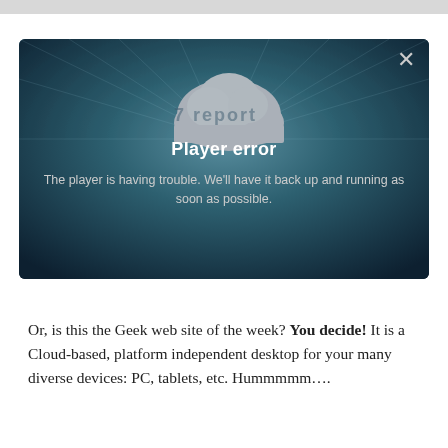[Figure (screenshot): A video player error dialog box with a dark teal/blue gradient background. It shows a cloud icon at top-center, an 'x' close button at top-right, the title 'Player error' in bold white text, and the message 'The player is having trouble. We'll have it back up and running as soon as possible.' in gray text. There is a faint watermark on the cloud.]
Or, is this the Geek web site of the week? You decide! It is a Cloud-based, platform independent desktop for your many diverse devices: PC, tablets, etc. Hummmmm….